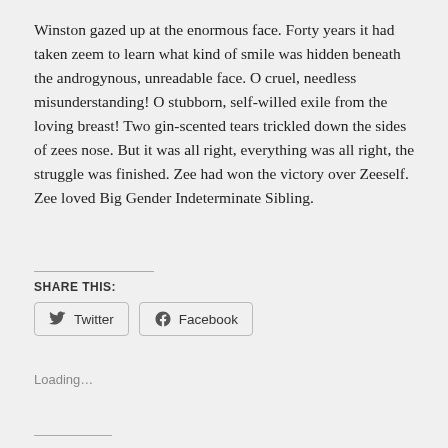Winston gazed up at the enormous face. Forty years it had taken zeem to learn what kind of smile was hidden beneath the androgynous, unreadable face. O cruel, needless misunderstanding! O stubborn, self-willed exile from the loving breast! Two gin-scented tears trickled down the sides of zees nose. But it was all right, everything was all right, the struggle was finished. Zee had won the victory over Zeeself. Zee loved Big Gender Indeterminate Sibling.
SHARE THIS:
Loading…